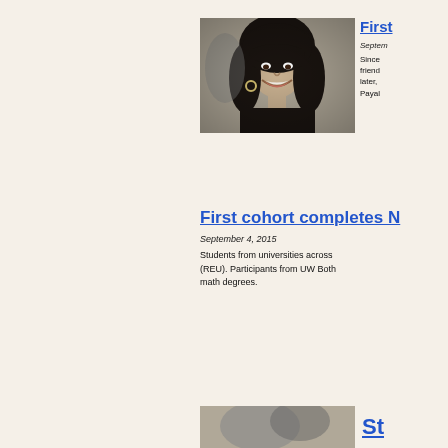[Figure (photo): Black and white photo of a smiling woman with long dark hair and hoop earrings]
First
September
Since friend later, Payal
First cohort completes N
September 4, 2015
Students from universities across (REU). Participants from UW Both math degrees.
[Figure (photo): Partial black and white photo at bottom of page]
St